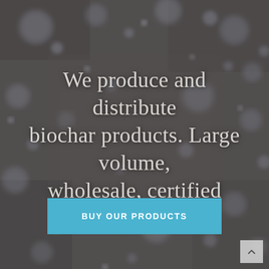[Figure (photo): Blurred macro photograph of biochar or dark granular material with bokeh bubble effects in muted grey-brown tones serving as background]
We produce and distribute biochar products. Large volume, wholesale, certified organic
Buy Our Products